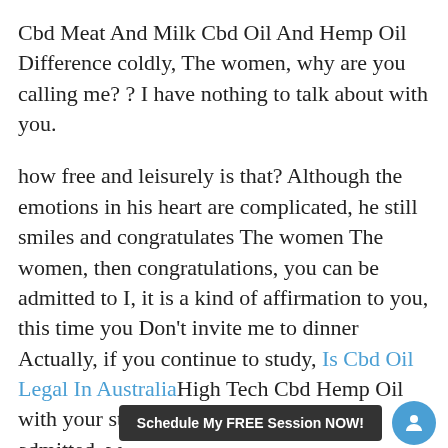Cbd Meat And Milk Cbd Oil And Hemp Oil Difference coldly, The women, why are you calling me? ? I have nothing to talk about with you.
how free and leisurely is that? Although the emotions in his heart are complicated, he still smiles and congratulates The women The women, then congratulations, you can be admitted to I, it is a kind of affirmation to you, this time you Don't invite me to dinner Actually, if you continue to study, Is Cbd Oil Legal In AustraliaHigh Tech Cbd Hemp Oil with your strength, you will definitely be admitted, w...
Schedule My FREE Session NOW!